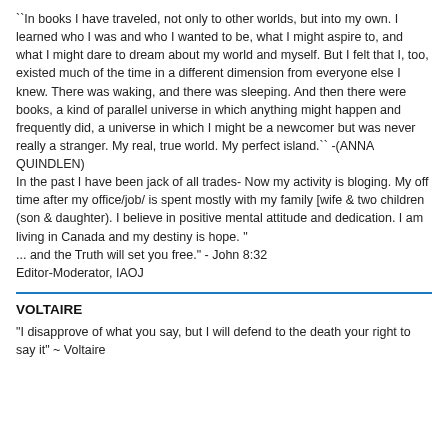``In books I have traveled, not only to other worlds, but into my own. I learned who I was and who I wanted to be, what I might aspire to, and what I might dare to dream about my world and myself. But I felt that I, too, existed much of the time in a different dimension from everyone else I knew. There was waking, and there was sleeping. And then there were books, a kind of parallel universe in which anything might happen and frequently did, a universe in which I might be a newcomer but was never really a stranger. My real, true world. My perfect island.`` -(ANNA QUINDLEN)
In the past I have been jack of all trades- Now my activity is bloging. My off time after my office/job/ is spent mostly with my family [wife & two children (son & daughter). I believe in positive mental attitude and dedication. I am living in Canada and my destiny is hope. "
... and the Truth will set you free." - John 8:32
Editor-Moderator, IAOJ
VOLTAIRE
"I disapprove of what you say, but I will defend to the death your right to say it" ~ Voltaire